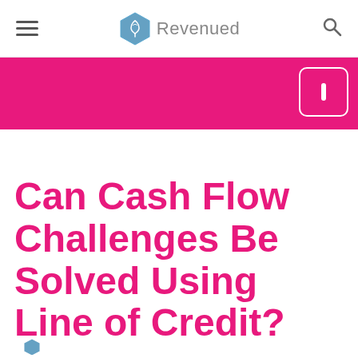Revenued
[Figure (other): Pink banner with a white rounded button icon on the right side]
Can Cash Flow Challenges Be Solved Using Line of Credit?